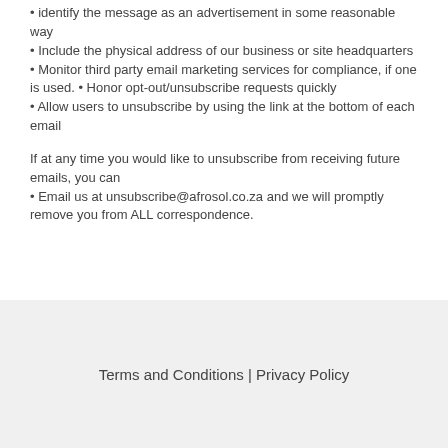• identify the message as an advertisement in some reasonable way
• Include the physical address of our business or site headquarters
• Monitor third party email marketing services for compliance, if one is used. • Honor opt-out/unsubscribe requests quickly
• Allow users to unsubscribe by using the link at the bottom of each email
If at any time you would like to unsubscribe from receiving future emails, you can
• Email us at unsubscribe@afrosol.co.za and we will promptly remove you from ALL correspondence.
Terms and Conditions | Privacy Policy